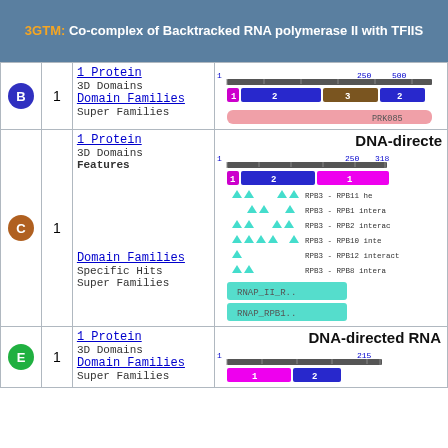3GTM: Co-complex of Backtracked RNA polymerase II with TFIIS
| Chain | Count | Info | Visualization |
| --- | --- | --- | --- |
| B | 1 | 1 Protein
3D Domains
Domain Families
Super Families | domain bars, PRK085... |
| C | 1 | 1 Protein
3D Domains
Features
Domain Families
Specific Hits
Super Families | DNA-directed...
domain bars
RPB3 features
RNAP_II_R..
RNAP_RPB1.. |
| E | 1 | 1 Protein
3D Domains
Domain Families
Super Families | DNA-directed RNA...
domain bars |